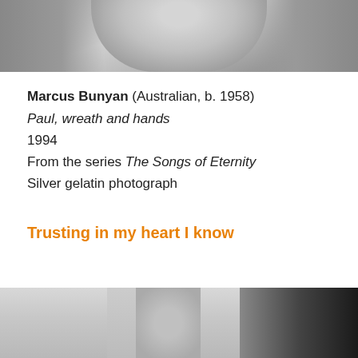[Figure (photo): Black and white photograph showing the lower portion of a face/chin and neck area, cropped at top of page]
Marcus Bunyan (Australian, b. 1958)
Paul, wreath and hands
1994
From the series The Songs of Eternity
Silver gelatin photograph
Trusting in my heart I know
[Figure (photo): Black and white photograph showing a torso/chest area, cropped at bottom of page]